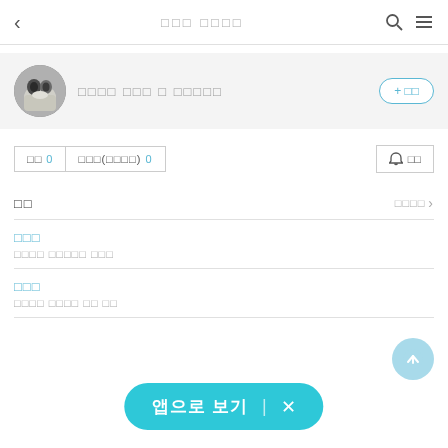< □□□ □□□□ 🔍 ≡
[Figure (screenshot): User profile section with circular avatar showing a cat photo, Korean username text, and a follow button]
□□ 0  □□□(□□□□) 0  🔔 □□
□□  □□□□ >
□□□
□□□□ □□□□□ □□□
□□□
□□□□ □□□□ □□ □□
앱으로 보기  ×